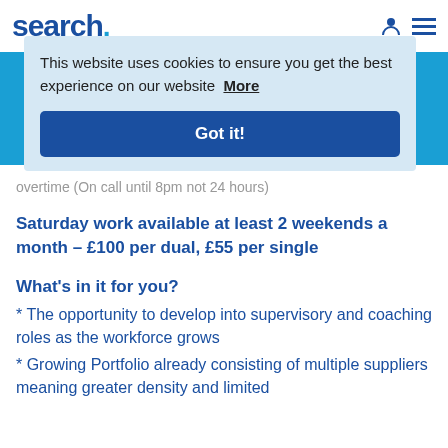search
This website uses cookies to ensure you get the best experience on our website  More
Got it!
76,000+
Candidates placed last year
overtime (On call until 8pm not 24 hours)
Saturday work available at least 2 weekends a month – £100 per dual, £55 per single
What's in it for you?
* The opportunity to develop into supervisory and coaching roles as the workforce grows
* Growing Portfolio already consisting of multiple suppliers meaning greater density and limited